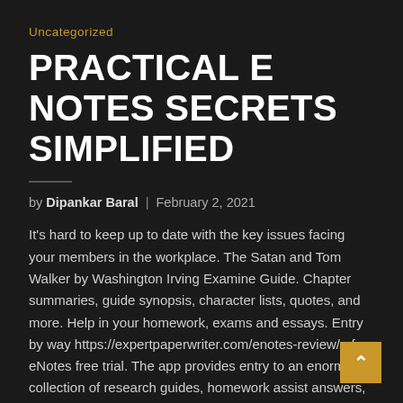Uncategorized
PRACTICAL E NOTES SECRETS SIMPLIFIED
by Dipankar Baral | February 2, 2021
It's hard to keep up to date with the key issues facing your members in the workplace. The Satan and Tom Walker by Washington Irving Examine Guide. Chapter summaries, guide synopsis, character lists, quotes, and more. Help in your homework, exams and essays. Entry by way https://expertpaperwriter.com/enotes-review/ of eNotes free trial. The app provides entry to an enormous collection of research guides, homework assist answers, and quizzes. Get fast assist with any ebook, any question.
Notarize can get you up and working with eNotes in as little as